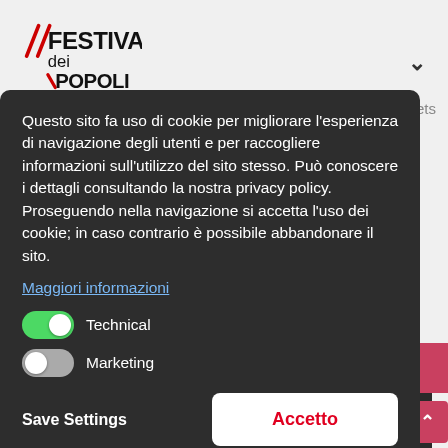[Figure (logo): Festival dei Popoli logo with red diagonal slash marks and bold text]
Questo sito fa uso di cookie per migliorare l'esperienza di navigazione degli utenti e per raccogliere informazioni sull'utilizzo del sito stesso. Può conoscere i dettagli consultando la nostra privacy policy. Proseguendo nella navigazione si accetta l'uso dei cookie; in caso contrario è possibile abbandonare il sito.
Maggiori informazioni
Technical
Marketing
Save Settings
Accetto